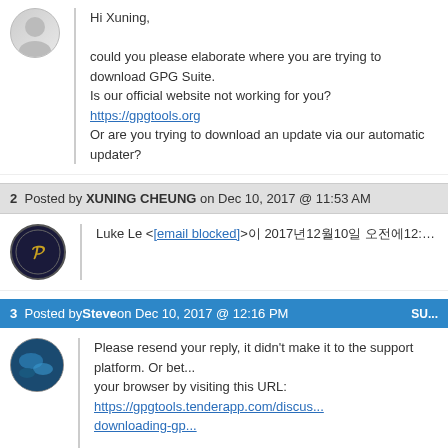Hi Xuning,

could you please elaborate where you are trying to download GPG Suite. Is our official website not working for you? https://gpgtools.org
Or are you trying to download an update via our automatic updater?
2 Posted by XUNING CHEUNG on Dec 10, 2017 @ 11:53 AM
Luke Le <[email blocked]>이 2017년12월10일 오전에12:05에 작성:
3 Posted by Steve on Dec 10, 2017 @ 12:16 PM
Please resend your reply, it didn't make it to the support platform. Or better open your browser by visiting this URL: https://gpgtools.tenderapp.com/discus... downloading-gp...

Kind regards,
steve
4 Posted by XUNING CHEUNG on Dec 10, 2017 @ 12:24 PM